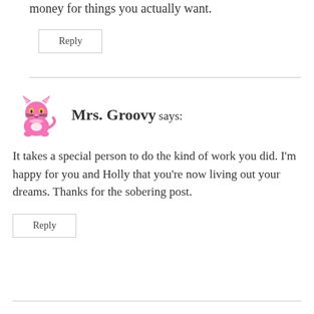money for things you actually want.
Reply
Mrs. Groovy says:
It takes a special person to do the kind of work you did. I'm happy for you and Holly that you're now living out your dreams. Thanks for the sobering post.
Reply